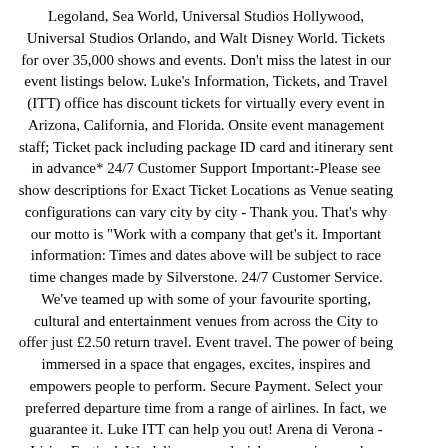Legoland, Sea World, Universal Studios Hollywood, Universal Studios Orlando, and Walt Disney World. Tickets for over 35,000 shows and events. Don't miss the latest in our event listings below. Luke's Information, Tickets, and Travel (ITT) office has discount tickets for virtually every event in Arizona, California, and Florida. Onsite event management staff; Ticket pack including package ID card and itinerary sent in advance* 24/7 Customer Support Important:-Please see show descriptions for Exact Ticket Locations as Venue seating configurations can vary city by city - Thank you. That's why our motto is "Work with a company that get's it. Important information: Times and dates above will be subject to race time changes made by Silverstone. 24/7 Customer Service. We've teamed up with some of your favourite sporting, cultural and entertainment venues from across the City to offer just £2.50 return travel. Event travel. The power of being immersed in a space that engages, excites, inspires and empowers people to perform. Secure Payment. Select your preferred departure time from a range of airlines. In fact, we guarantee it. Luke ITT can help you out! Arena di Verona - Lirico Festival. We deliver a much richer experience when JavaScript is enabled. 2021 Super Bowl Raymond James Stadium, Tampa, FL February 4-8, 2021; 2021 Masters Augusta National Golf Club, Augusta, GA: April 5-11, 2021 2021 Kentucky Derby Een eenmansreisbureau gespecialiseerd in tickets voor slechts één voetbalclub. Book Semi Finals and Finals tickets at P1 Travel. Sellers set their own prices